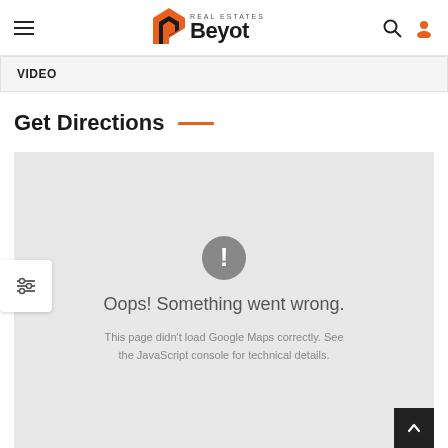Beyot Real Estates — navigation header
VIDEO
Get Directions
[Figure (map): Google Maps embed area showing error: Oops! Something went wrong. This page didn't load Google Maps correctly. See the JavaScript console for technical details.]